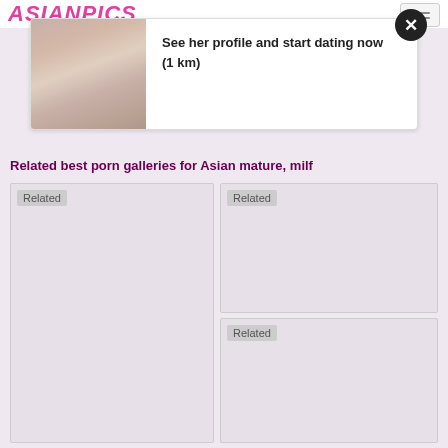ASIANPICS
[Figure (photo): Advertisement banner with photo and text: See her profile and start dating now (1 km)]
Related best porn galleries for Asian mature, milf
[Figure (photo): Related gallery card - large left]
[Figure (photo): Related gallery card - top right]
[Figure (photo): Related gallery card - middle right]
[Figure (photo): Related gallery card - bottom partial]